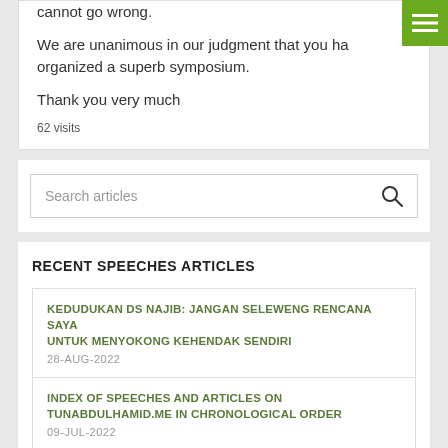cannot go wrong.
We are unanimous in our judgment that you have organized a superb symposium.
Thank you very much
62 visits
Search articles
RECENT SPEECHES ARTICLES
KEDUDUKAN DS NAJIB: JANGAN SELEWENG RENCANA SAYA UNTUK MENYOKONG KEHENDAK SENDIRI
28-AUG-2022
INDEX OF SPEECHES AND ARTICLES ON TUNABDULHAMID.ME IN CHRONOLOGICAL ORDER
09-JUL-2022